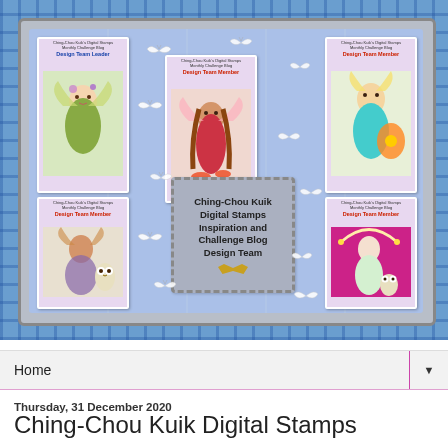[Figure (illustration): Ching-Chou Kuik Digital Stamps design team banner with fairy card illustrations, butterflies, and central badge on blue patterned background with gray border]
Home
Thursday, 31 December 2020
Ching-Chou Kuik Digital Stamps